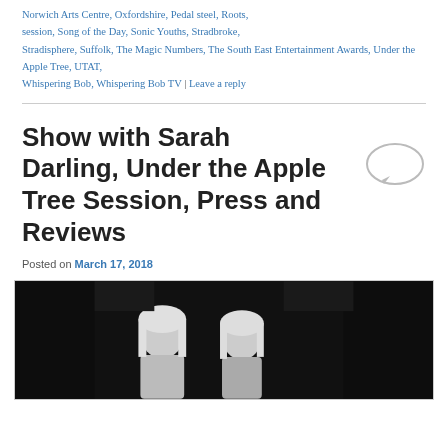Norwich Arts Centre, Oxfordshire, Pedal steel, Roots, session, Song of the Day, Sonic Youths, Stradbroke, Stradisphere, Suffolk, The Magic Numbers, The South East Entertainment Awards, Under the Apple Tree, UTAT, Whispering Bob, Whispering Bob TV | Leave a reply
Show with Sarah Darling, Under the Apple Tree Session, Press and Reviews
Posted on March 17, 2018
[Figure (photo): Black and white photograph of two blonde women]